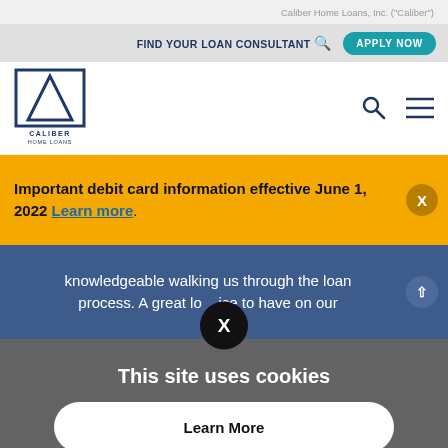Caliber Home Loans, Inc. ("Caliber")
FIND YOUR LOAN CONSULTANT  APPLY NOW
[Figure (logo): Caliber Home Loans logo with blue triangle/arch icon and text CALIBER HOME LOANS]
Important debit card information effective June 1, 2022 Learn more.
knowledgeable walking us through the loan process. A great lo  ice to have on our
This site uses cookies
Learn More
Accept